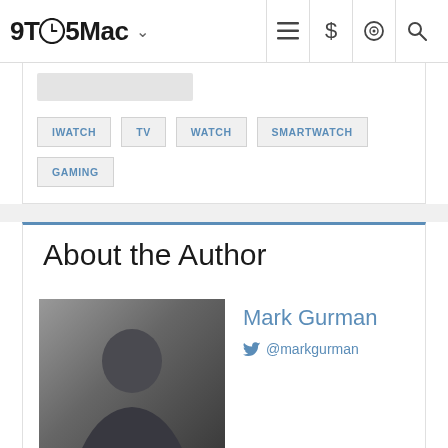9TO5Mac
IWATCH
TV
WATCH
SMARTWATCH
GAMING
About the Author
Mark Gurman
@markgurman
Mark Gurman's favorite gear